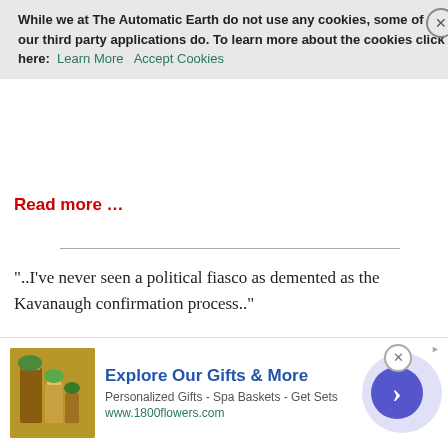basis. Earlier this week, Theresa May announced the government would lift a cap on the amount councils can borrow to build housing, potentially helping to increase the number of homes built by local authorities.
While we at The Automatic Earth do not use any cookies, some of our third party applications do. To learn more about the cookies click here: Learn More   Accept Cookies
Read more …
“..I’ve never seen a political fiasco as demented as the Kavanaugh confirmation process..”
Fishtailing into the Future (Jim Kunstler)
[..] at the macro level, this system and its subsystems are out-of-control and shaking themselves loose. Government has attempted to prop them up by schemes that amount to racketeering of one kind or another — the dishonest manipulation and representation of money — and now money itself is in revolt, as can be seen in the sudden rise
[Figure (other): Advertisement banner for 1800flowers.com: Explore Our Gifts & More, Personalized Gifts - Spa Baskets - Get Sets, www.1800flowers.com, with product image and navigation arrow]